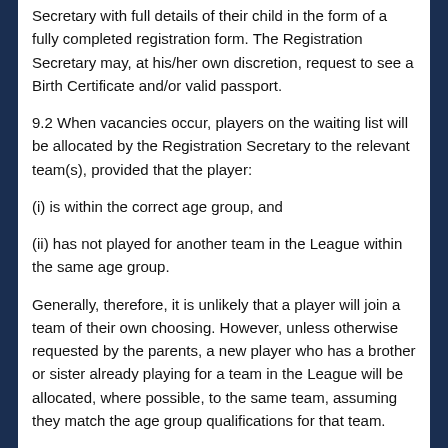Secretary with full details of their child in the form of a fully completed registration form. The Registration Secretary may, at his/her own discretion, request to see a Birth Certificate and/or valid passport.
9.2 When vacancies occur, players on the waiting list will be allocated by the Registration Secretary to the relevant team(s), provided that the player:
(i) is within the correct age group, and
(ii) has not played for another team in the League within the same age group.
Generally, therefore, it is unlikely that a player will join a team of their own choosing. However, unless otherwise requested by the parents, a new player who has a brother or sister already playing for a team in the League will be allocated, where possible, to the same team, assuming they match the age group qualifications for that team.
9.3 The team squad sizes for the season will be determined by the Executive Committee at the beginning of this season.